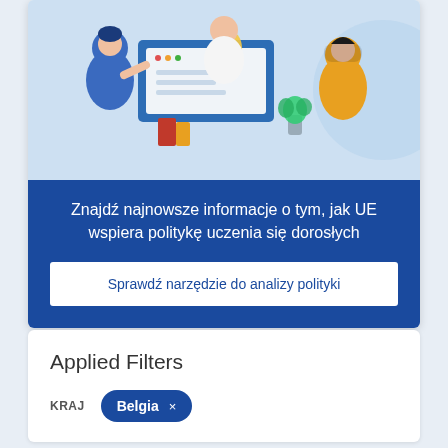[Figure (illustration): Flat-style illustration of people in a meeting/learning environment with a computer screen showing a lightbulb idea, books, and a plant. Light blue background.]
Znajdź najnowsze informacje o tym, jak UE wspiera politykę uczenia się dorosłych
Sprawdź narzędzie do analizy polityki
Applied Filters
KRAJ
Belgia ×